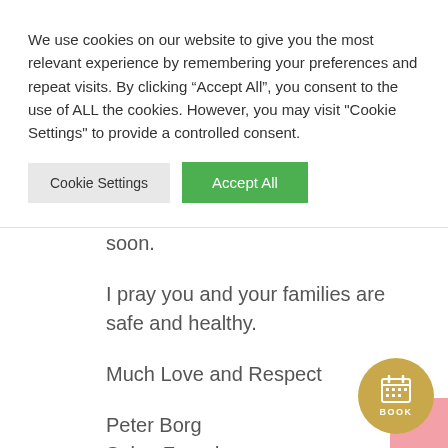We use cookies on our website to give you the most relevant experience by remembering your preferences and repeat visits. By clicking “Accept All”, you consent to the use of ALL the cookies. However, you may visit "Cookie Settings" to provide a controlled consent.
Cookie Settings | Accept All
that you are accustomed to very soon.
I pray you and your families are safe and healthy.
Much Love and Respect
Peter Borg
Salon Founder
[Figure (other): A circular gold/yellow BOOK button with a calendar icon in white, overlapping a pink block in the bottom right corner.]